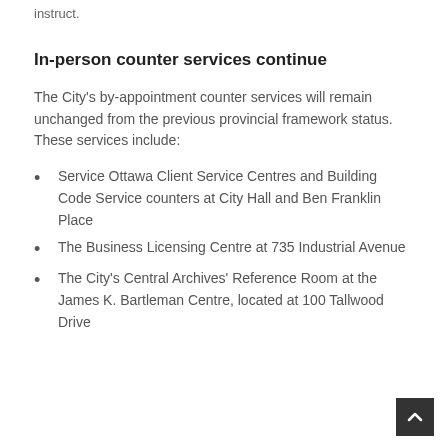instruct.
In-person counter services continue
The City's by-appointment counter services will remain unchanged from the previous provincial framework status. These services include:
Service Ottawa Client Service Centres and Building Code Service counters at City Hall and Ben Franklin Place
The Business Licensing Centre at 735 Industrial Avenue
The City's Central Archives' Reference Room at the James K. Bartleman Centre, located at 100 Tallwood Drive